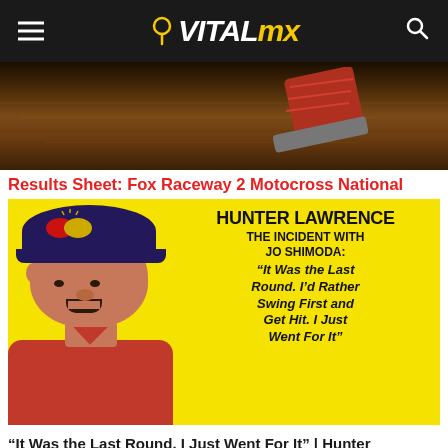VITAL mx
[Figure (photo): Close-up photo of a motocross boot/shoe over dirt/ground at a race track]
Results Sheet: Fox Raceway 2 Motocross National
[Figure (photo): Hunter Lawrence on yellow background thumbnail. HUNTER LAWRENCE THE INCIDENT WITH JO SHIMODA: "It Was the Last Round. I'd Rather Swing First and Get Hit. I Just Went For It"]
"It Was the Last Round. I Just Went For It" | Hunter Lawrence on Jo Shimoda Incident